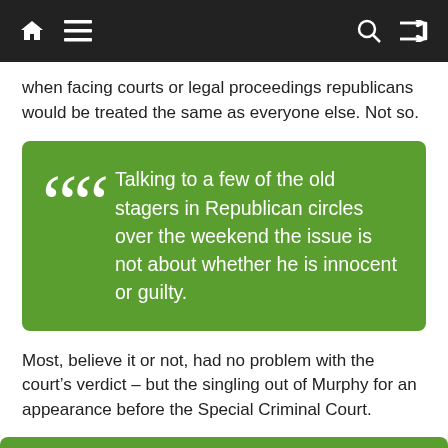Navigation bar with home, menu, search, and shuffle icons
when facing courts or legal proceedings republicans would be treated the same as everyone else. Not so.
Talking to a few of the old stagers in Republican circles over the weekend the issue is not about whether he is innocent or guilty.
Most, believe it or not, had no problem with the court’s verdict – but the singling out of Murphy for an appearance before the Special Criminal Court.